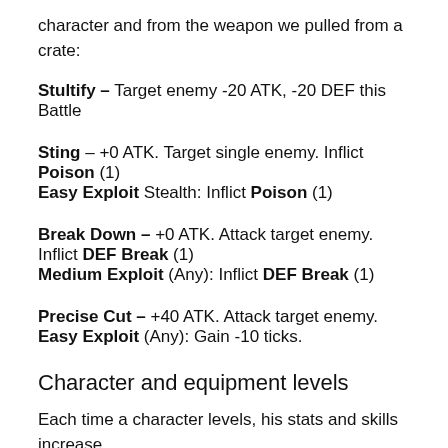character and from the weapon we pulled from a crate:
Stultify – Target enemy -20 ATK, -20 DEF this Battle
Sting – +0 ATK. Target single enemy. Inflict Poison (1)
Easy Exploit Stealth: Inflict Poison (1)
Break Down – +0 ATK. Attack target enemy. Inflict DEF Break (1)
Medium Exploit (Any): Inflict DEF Break (1)
Precise Cut – +40 ATK. Attack target enemy.
Easy Exploit (Any): Gain -10 ticks.
Character and equipment levels
Each time a character levels, his stats and skills increase. Each level costs a number of juice equal to the new level